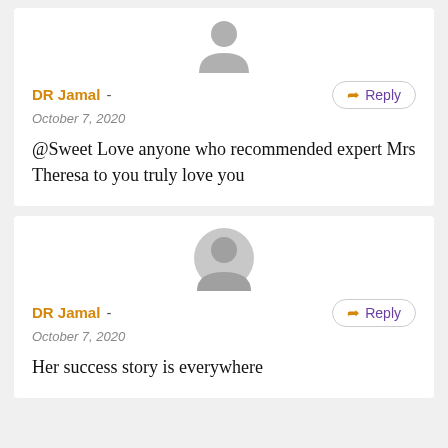[Figure (illustration): Grey silhouette avatar icon (top half of person)]
DR Jamal - Reply October 7, 2020
@Sweet Love anyone who recommended expert Mrs Theresa to you truly love you
[Figure (illustration): Grey circular avatar icon (full head)]
DR Jamal - Reply October 7, 2020
Her success story is everywhere